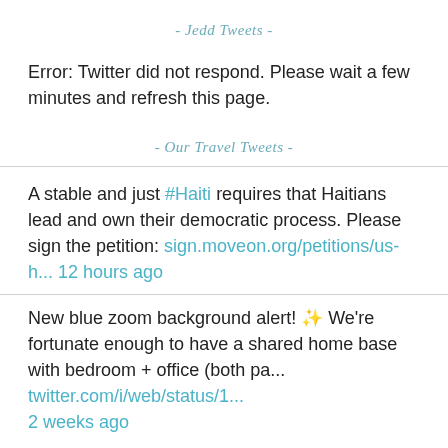- Jedd Tweets -
Error: Twitter did not respond. Please wait a few minutes and refresh this page.
- Our Travel Tweets -
A stable and just #Haiti requires that Haitians lead and own their democratic process. Please sign the petition: sign.moveon.org/petitions/us-h... 12 hours ago
New blue zoom background alert! ✨ We're fortunate enough to have a shared home base with bedroom + office (both pa... twitter.com/i/web/status/1... 2 weeks ago
Follow @int_travelers